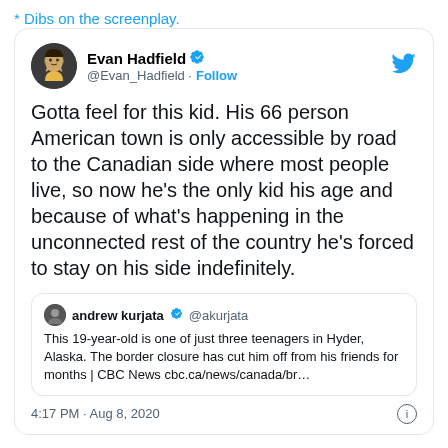* Dibs on the screenplay.
[Figure (screenshot): Tweet by Evan Hadfield (@Evan_Hadfield) with verified badge and Follow button. Tweet text: 'Gotta feel for this kid. His 66 person American town is only accessible by road to the Canadian side where most people live, so now he's the only kid his age and because of what's happening in the unconnected rest of the country he's forced to stay on his side indefinitely.' Quoted tweet by andrew kurjata (@akurjata): 'This 19-year-old is one of just three teenagers in Hyder, Alaska. The border closure has cut him off from his friends for months | CBC News cbc.ca/news/canada/br…' Posted at 4:17 PM · Aug 8, 2020.]